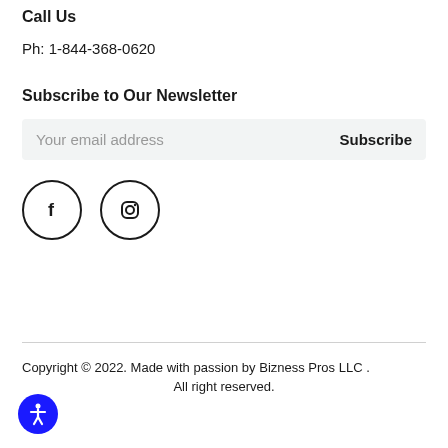Call Us
Ph: 1-844-368-0620
Subscribe to Our Newsletter
Your email address  Subscribe
[Figure (illustration): Facebook and Instagram social media icons as outlined circles]
Copyright © 2022. Made with passion by Bizness Pros LLC . All right reserved.